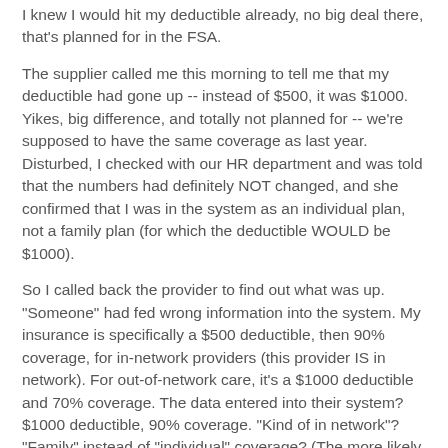I knew I would hit my deductible already, no big deal there, that's planned for in the FSA.
The supplier called me this morning to tell me that my deductible had gone up -- instead of $500, it was $1000. Yikes, big difference, and totally not planned for -- we're supposed to have the same coverage as last year. Disturbed, I checked with our HR department and was told that the numbers had definitely NOT changed, and she confirmed that I was in the system as an individual plan, not a family plan (for which the deductible WOULD be $1000).
So I called back the provider to find out what was up. "Someone" had fed wrong information into the system. My insurance is specifically a $500 deductible, then 90% coverage, for in-network providers (this provider IS in network). For out-of-network care, it's a $1000 deductible and 70% coverage. The data entered into their system? $1000 deductible, 90% coverage. "Kind of in network"? "Family" instead of "individual" coverage? (The more likely mistake, but still not correct!)